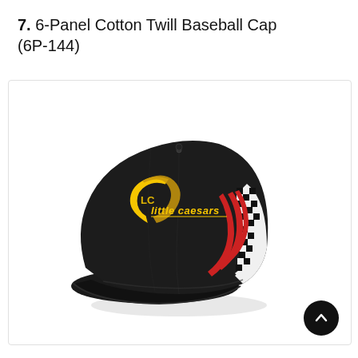7. 6-Panel Cotton Twill Baseball Cap (6P-144)
[Figure (photo): A black 6-panel cotton twill baseball cap with Little Caesars branding. The cap features a yellow embroidered Little Caesars logo on the front panel, with red and black-and-white checkered accent panels on the side.]